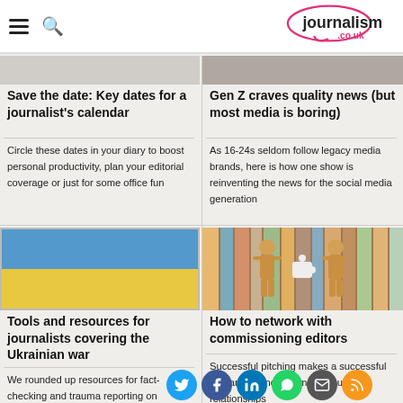journalism.co.uk
[Figure (photo): Greyed out top portion of a calendar/dates image]
Save the date: Key dates for a journalist's calendar
Circle these dates in your diary to boost personal productivity, plan your editorial coverage or just for some office fun
[Figure (photo): Group photo of young people, Gen Z audience]
Gen Z craves quality news (but most media is boring)
As 16-24s seldom follow legacy media brands, here is how one show is reinventing the news for the social media generation
[Figure (photo): Ukrainian flag blue and yellow distressed texture]
Tools and resources for journalists covering the Ukrainian war
We rounded up resources for fact-checking and trauma reporting on Russia's war in Ukraine
[Figure (photo): Wooden mannequins holding a puzzle piece against colorful wooden backdrop]
How to network with commissioning editors
Successful pitching makes a successful freelancer, and that means building relationships